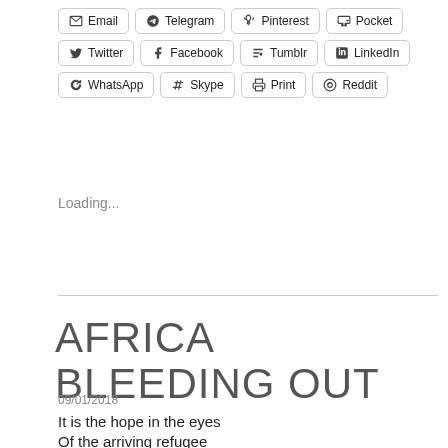[Figure (other): Social share buttons including Email, Telegram, Pinterest, Pocket, Twitter, Facebook, Tumblr, LinkedIn, WhatsApp, Skype, Print, Reddit]
Loading...
AFRICA BLEEDING OUT
09/01/2018
It is the hope in the eyes
Of the arriving refugee